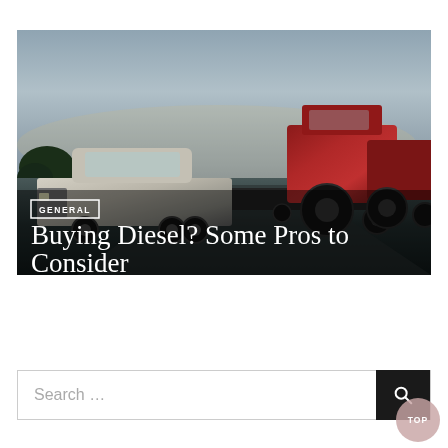[Figure (photo): A silver pickup truck towing a flatbed trailer carrying two large red tractors, photographed at dusk on a rural road with trees in the background. Text overlay shows 'GENERAL' badge and title 'Buying Diesel? Some Pros to Consider'.]
Buying Diesel? Some Pros to Consider
Search ...